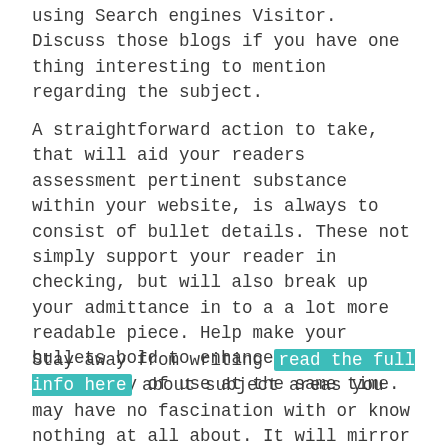using Search engines Visitor. Discuss those blogs if you have one thing interesting to mention regarding the subject.
A straightforward action to take, that will aid your readers assessment pertinent substance within your website, is always to consist of bullet details. These not simply support your reader in checking, but will also break up your admittance in to a a lot more readable piece. Help make your bullets bold to enhance the simplicity of use at the same time.
Stay away from writing read the full info here about subject areas you may have no fascination with or know nothing at all about. It will mirror in your producing and you may come across as